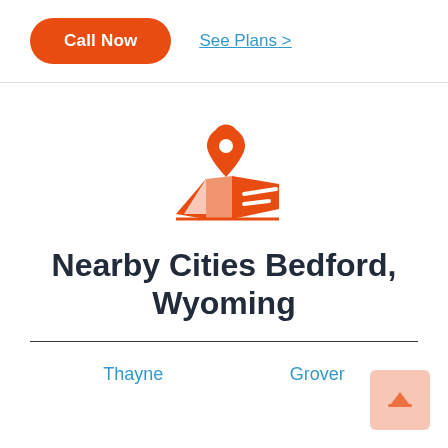Call Now
See Plans >
[Figure (illustration): Orange map pin / location icon with folded map beneath it]
Nearby Cities Bedford, Wyoming
Thayne
Grover